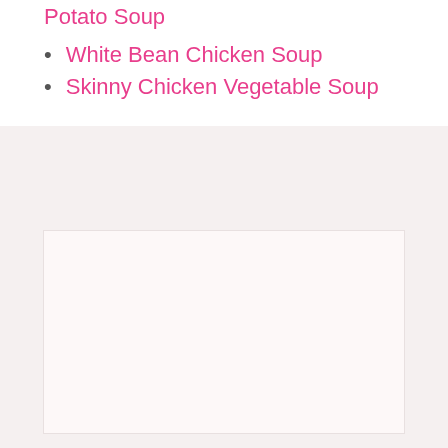Potato Soup
White Bean Chicken Soup
Skinny Chicken Vegetable Soup
[Figure (photo): Large light-colored image placeholder box, nearly empty with a very faint pinkish-white background]